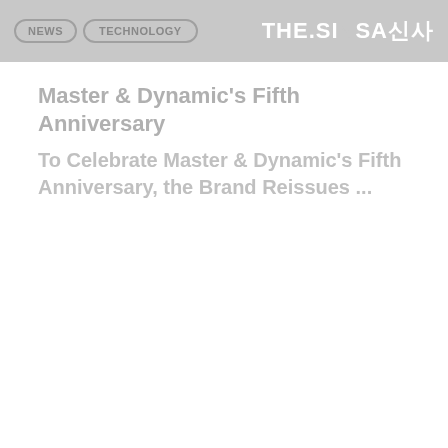NEWS | TECHNOLOGY | THE.SINSA신사
Master & Dynamic's Fifth Anniversary
To Celebrate Master & Dynamic's Fifth Anniversary, the Brand Reissues ...